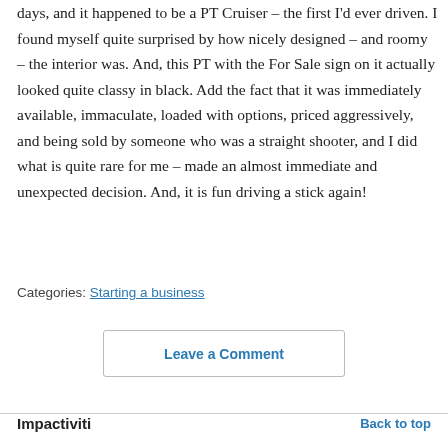days, and it happened to be a PT Cruiser – the first I'd ever driven. I found myself quite surprised by how nicely designed – and roomy – the interior was. And, this PT with the For Sale sign on it actually looked quite classy in black. Add the fact that it was immediately available, immaculate, loaded with options, priced aggressively, and being sold by someone who was a straight shooter, and I did what is quite rare for me – made an almost immediate and unexpected decision. And, it is fun driving a stick again!
Categories: Starting a business
Leave a Comment
Impactiviti   Back to top